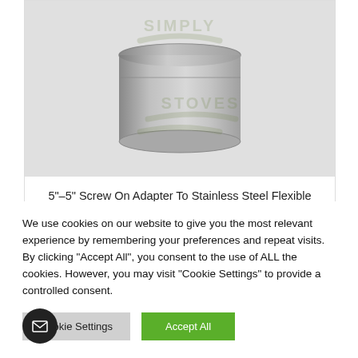[Figure (photo): Stainless steel cylindrical screw-on adapter piece with watermark 'Simply Stoves' overlaid on a light grey background]
5"-5" Screw On Adapter To Stainless Steel Flexible Chimney Flue Liner
We use cookies on our website to give you the most relevant experience by remembering your preferences and repeat visits. By clicking "Accept All", you consent to the use of ALL the cookies. However, you may visit "Cookie Settings" to provide a controlled consent.